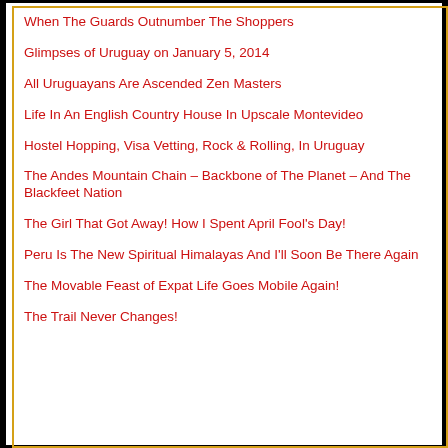When The Guards Outnumber The Shoppers
Glimpses of Uruguay on January 5, 2014
All Uruguayans Are Ascended Zen Masters
Life In An English Country House In Upscale Montevideo
Hostel Hopping, Visa Vetting, Rock & Rolling, In Uruguay
The Andes Mountain Chain – Backbone of The Planet – And The Blackfeet Nation
The Girl That Got Away! How I Spent April Fool's Day!
Peru Is The New Spiritual Himalayas And I'll Soon Be There Again
The Movable Feast of Expat Life Goes Mobile Again!
The Trail Never Changes!